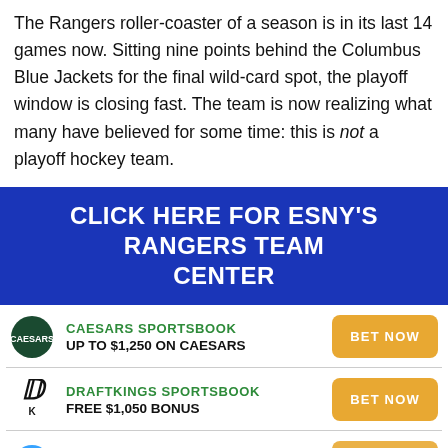The Rangers roller-coaster of a season is in its last 14 games now. Sitting nine points behind the Columbus Blue Jackets for the final wild-card spot, the playoff window is closing fast. The team is now realizing what many have believed for some time: this is not a playoff hockey team.
[Figure (infographic): Dark blue banner button: CLICK HERE FOR ESNY's RANGERS TEAM CENTER]
[Figure (infographic): Sportsbook promotions list with three entries: Caesars Sportsbook (UP TO $1,250 ON CAESARS, BET NOW button), DraftKings Sportsbook (FREE $1,050 BONUS, BET NOW button), FanDuel Sportsbook (partially visible, BET NOW button)]